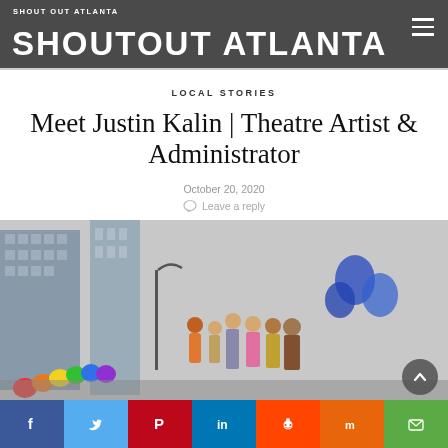SHOUTOUT ATLANTA
LOCAL STORIES
Meet Justin Kalin | Theatre Artist & Administrator
October 20, 2020
Leave a reply
[Figure (photo): Group of colorfully dressed performers and officials standing outdoors with city buildings in background and rainbow balloons, alongside a blue feathered figure sculpture]
Facebook, Twitter, Pinterest, LinkedIn, Reddit, Mix, Email social share buttons